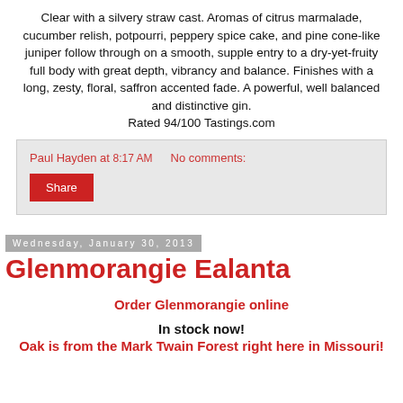Clear with a silvery straw cast. Aromas of citrus marmalade, cucumber relish, potpourri, peppery spice cake, and pine cone-like juniper follow through on a smooth, supple entry to a dry-yet-fruity full body with great depth, vibrancy and balance. Finishes with a long, zesty, floral, saffron accented fade. A powerful, well balanced and distinctive gin. Rated 94/100 Tastings.com
Paul Hayden at 8:17 AM   No comments:
Share
Wednesday, January 30, 2013
Glenmorangie Ealanta
Order Glenmorangie online
In stock now!
Oak is from the Mark Twain Forest right here in Missouri!